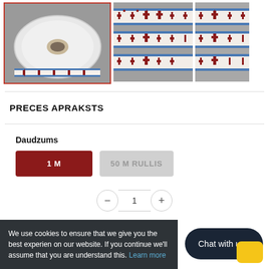[Figure (photo): Three product photos of a decorative woven ribbon/tape with Latvian folk pattern in red/white/blue on grey background. First image shows a roll of ribbon with red border highlight, second and third show close-up of the flat ribbon pattern.]
PRECES APRAKSTS
Daudzums
1 M (selected, dark red button)
50 M RULLIS (inactive, grey button)
We use cookies to ensure that we give you the best experience on our website. If you continue we'll assume that you are understand this. Learn more
Chat with us